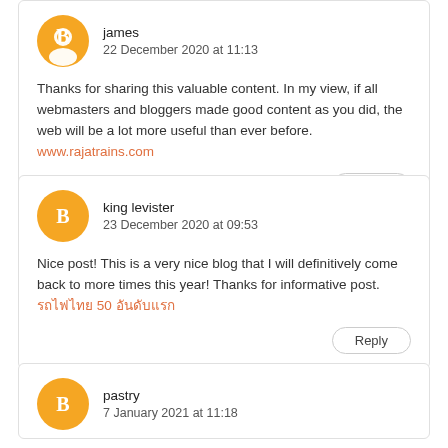james
22 December 2020 at 11:13
Thanks for sharing this valuable content. In my view, if all webmasters and bloggers made good content as you did, the web will be a lot more useful than ever before. www.rajatrains.com
Reply
king levister
23 December 2020 at 09:53
Nice post! This is a very nice blog that I will definitively come back to more times this year! Thanks for informative post. รถไฟไทย 50 อันดับแรก
Reply
pastry
7 January 2021 at 11:18